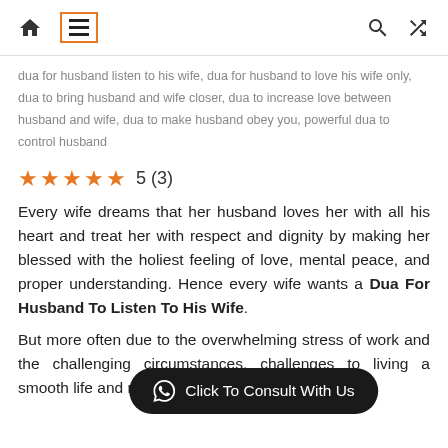Navigation header with home, menu, search, and shuffle icons
dua for husband listen to his wife, dua for husband to love his wife only, dua to bring husband and wife closer, dua to increase love between husband and wife, dua to make husband obey you, powerful dua to control husband
★★★★★ 5 (3)
Every wife dreams that her husband loves her with all his heart and treat her with respect and dignity by making her blessed with the holiest feeling of love, mental peace, and proper understanding. Hence every wife wants a Dua For Husband To Listen To His Wife.
But more often due to the overwhelming stress of work and the challenging circumstances, challenges to living a smooth life and mental
Click To Consult With Us